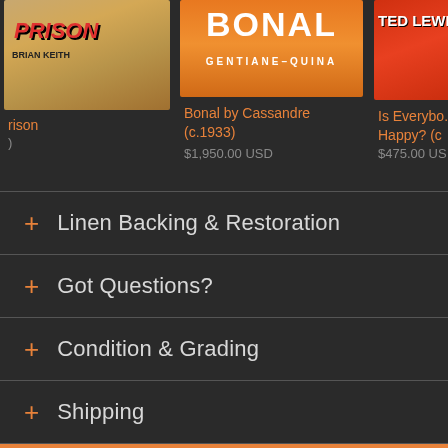[Figure (screenshot): Partial view of three vintage movie/art poster product cards. Left card shows 'Prison' poster (partially cut off), center shows 'Bonal by Cassandre (c.1933)' priced at $1,950.00 USD, right shows 'Is Everybody Happy? (c...)' priced at $475.00 US (cut off). Dark background e-commerce layout.]
+ Linen Backing & Restoration
+ Got Questions?
+ Condition & Grading
+ Shipping